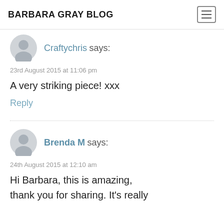BARBARA GRAY BLOG
Craftychris says:
23rd August 2015 at 11:06 pm
A very striking piece! xxx
Reply
Brenda M says:
24th August 2015 at 12:10 am
Hi Barbara, this is amazing, thank you for sharing. It's really